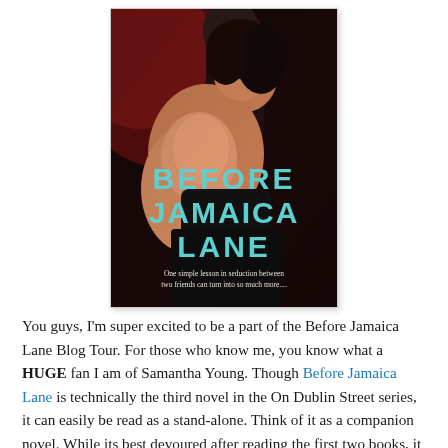[Figure (illustration): Book cover for 'Before Jamaica Lane' by Samantha Young. Dark romantic cover with two figures close together, woman with dark hair shown from behind/side. Large teal/cyan text reads 'BEFORE JAMAICA LANE'. Subtitle text: 'One simple lesson in seduction between two friends can turn into so much more....']
You guys, I'm super excited to be a part of the Before Jamaica Lane Blog Tour. For those who know me, you know what a HUGE fan I am of Samantha Young. Though Before Jamaica Lane is technically the third novel in the On Dublin Street series, it can easily be read as a stand-alone. Think of it as a companion novel. While its best devoured after reading the first two books, it will still please you without...